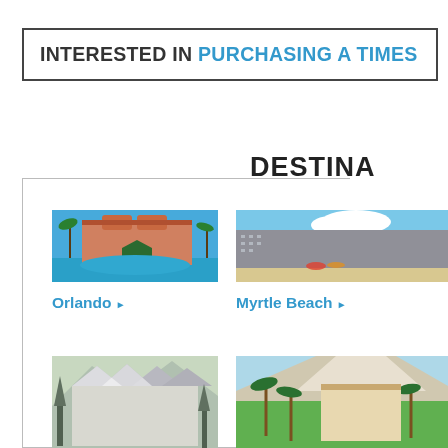INTERESTED IN PURCHASING A TIMES...
DESTINA...
[Figure (photo): Orlando resort with pool, palm trees, and Mediterranean-style architecture]
Orlando ▶
[Figure (photo): Myrtle Beach oceanfront resort hotel]
Myrtle Beach ▶
[Figure (photo): Mountain resort with European-style architecture in winter setting]
[Figure (photo): Palm Springs resort with mountains and palm trees in background]